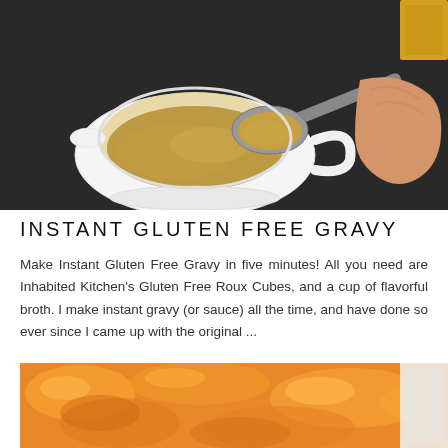[Figure (photo): Overhead photo of a white gravy boat/sauceboat filled with brown gravy, with a hand holding a spoon dipping into it, on a dark background.]
INSTANT GLUTEN FREE GRAVY
Make Instant Gluten Free Gravy in five minutes! All you need are Inhabited Kitchen's Gluten Free Roux Cubes, and a cup of flavorful broth. I make instant gravy (or sauce) all the time, and have done so ever since I came up with the original ...
[Figure (photo): Close-up photo of a bubbly orange-yellow cooked dish in a baking pan, partially visible at the bottom of the page.]